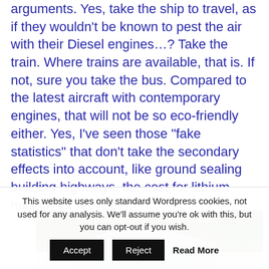arguments. Yes, take the ship to travel, as if they wouldn't be known to pest the air with their Diesel engines...? Take the train. Where trains are available, that is. If not, sure you take the bus. Compared to the latest aircraft with contemporary engines, that will not be so eco-friendly either. Yes, I've seen those "fake statistics" that don't take the secondary effects into account, like ground sealing building highways, the cost for lithium mining, for recycling.
[Figure (photo): Partial view of a building with a flat/angular roof and trees in the background]
This website uses only standard Wordpress cookies, not used for any analysis. We'll assume you're ok with this, but you can opt-out if you wish. Accept Reject Read More